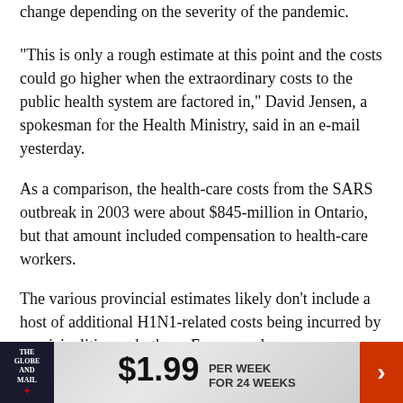change depending on the severity of the pandemic.
"This is only a rough estimate at this point and the costs could go higher when the extraordinary costs to the public health system are factored in," David Jensen, a spokesman for the Health Ministry, said in an e-mail yesterday.
As a comparison, the health-care costs from the SARS outbreak in 2003 were about $845-million in Ontario, but that amount included compensation to health-care workers.
The various provincial estimates likely don't include a host of additional H1N1-related costs being incurred by municipalities and others. For example,
[Figure (other): Globe and Mail subscription advertisement banner: $1.99 per week for 24 weeks]